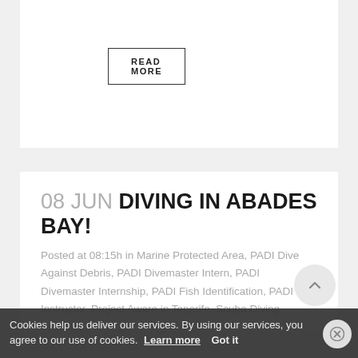READ MORE
08 JUN DIVING IN ABADES BAY!
Posted at 08:15h in Marine Protected Area, PADI Dive Against Debris, PADI Divemaster Intern, PADI Divemaster Internship, PADI Fish Identification, PADI Instructor, Project Aware in Tenerife, Scuba Diving Tenerife,
Cookies help us deliver our services. By using our services, you agree to our use of cookies. Learn more Got it